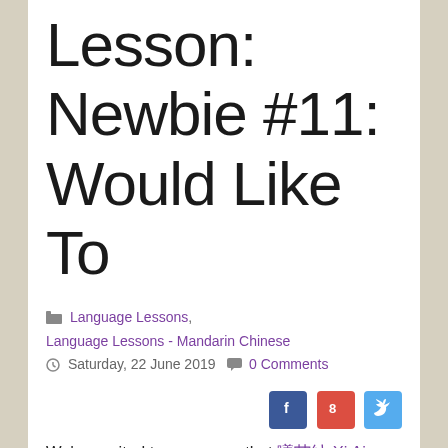Lesson: Newbie #11: Would Like To
Language Lessons, Language Lessons - Mandarin Chinese
Saturday, 22 June 2019   0 Comments
[Figure (other): Social share icons: Facebook, Google+, Twitter]
We're excited to announce that 曦艾纳 Xi Aina (Diana) has just published "Newbie #11: Would Like To", a new Newbie level Mandarin Chinese lesson, on Language Mentor!